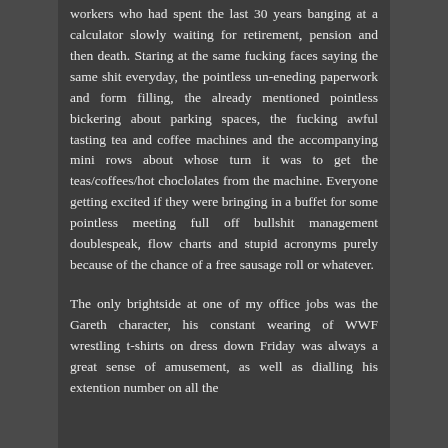workers who had spent the last 30 years banging at a calculator slowly waiting for retirement, pension and then death. Staring at the same fucking faces saying the same shit everyday, the pointless un-eneding paperwork and form filling, the already mentioned pointless bickering about parking spaces, the fucking awful tasting tea and coffee machines and the accompanying mini rows about whose turn it was to get the teas/coffees/hot choclolates from the machine. Everyone getting excited if they were bringing in a buffet for some pointless meeting full off bullshit management doublespeak, flow charts and stupid acronyms purely because of the chance of a free sausage roll or whatever.
The only brightside at one of my office jobs was the Gareth character, his constant wearing of WWF wrestling t-shirts on dress down Friday was always a great sense of amusement, as well as dialling his extention number on all the